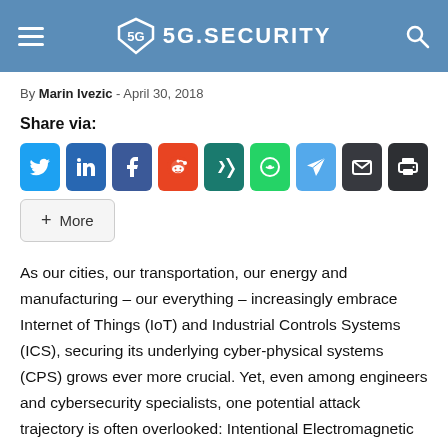5G.SECURITY
By Marin Ivezic - April 30, 2018
Share via:
[Figure (infographic): Social share buttons: Twitter, LinkedIn, Facebook, Reddit, Xing, WhatsApp, Telegram, Email, Print, and a More button]
As our cities, our transportation, our energy and manufacturing – our everything – increasingly embrace Internet of Things (IoT) and Industrial Controls Systems (ICS), securing its underlying cyber-physical systems (CPS) grows ever more crucial. Yet, even among engineers and cybersecurity specialists, one potential attack trajectory is often overlooked: Intentional Electromagnetic Interference (IEMI).